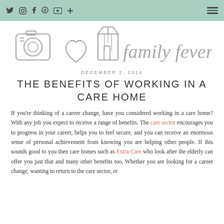Twitter Instagram Facebook Pinterest YouTube + [hamburger menu]
[Figure (logo): Family Fever blog logo — hand-drawn style outline of a camera, heart, beach hut, and cursive 'family fever' text in grey]
DECEMBER 2, 2014
THE BENEFITS OF WORKING IN A CARE HOME
If you're thinking of a career change, have you considered working in a care home? With any job you expect to receive a range of benefits. The care sector encourages you to progress in your career, helps you to feel secure, and you can receive an enormous sense of personal achievement from knowing you are helping other people. If this sounds good to you then care homes such as Extra Care who look after the elderly can offer you just that and many other benefits too. Whether you are looking for a career change, wanting to return to the care sector, or